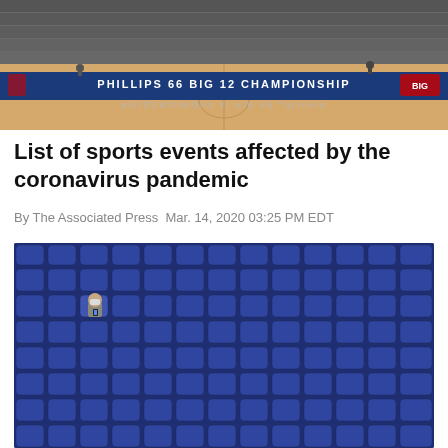[Figure (photo): Basketball arena with Phillips 66 Big 12 Championship signage visible on the court, photographed from the stands. The court is mostly empty with a few people on the floor.]
List of sports events affected by the coronavirus pandemic
By The Associated Press Mar. 14, 2020 03:25 PM EDT
[Figure (photo): A single person wearing a face mask sits alone in a vast sea of empty blue stadium seats, looking at a phone.]